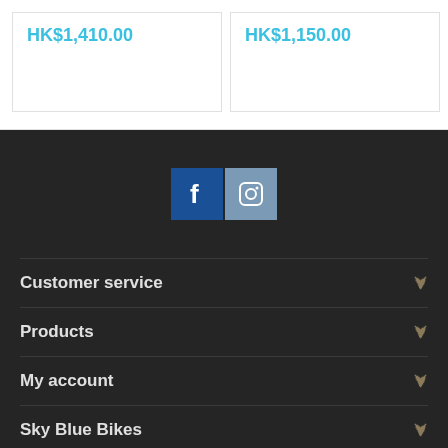HK$1,410.00
HK$1,150.00
[Figure (illustration): Social media icons: Facebook and Instagram buttons in dark footer area]
Customer service
Products
My account
Sky Blue Bikes